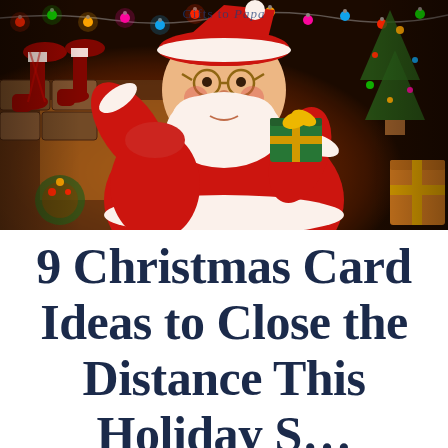[Figure (photo): Santa Claus in red suit and white hat, holding a green gift box with gold ribbon, pulling it from a sack. Background shows a fireplace with Christmas stockings and colorful holiday lights.]
Gifts to Papa
9 Christmas Card Ideas to Close the Distance This Holiday S...